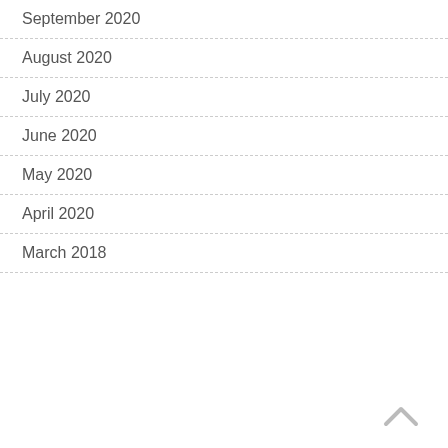September 2020
August 2020
July 2020
June 2020
May 2020
April 2020
March 2018